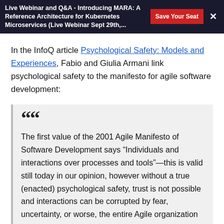Live Webinar and Q&A - Introducing MARA: A Reference Architecture for Kubernetes Microservices (Live Webinar Sept 29th,...
In the InfoQ article Psychological Safety: Models and Experiences, Fabio and Giulia Armani link psychological safety to the manifesto for agile software development:
The first value of the 2001 Agile Manifesto of Software Development says “Individuals and interactions over processes and tools”—this is valid still today in our opinion, however without a true (enacted) psychological safety, trust is not possible and interactions can be corrupted by fear, uncertainty, or worse, the entire Agile organization can live in a fake “world” of